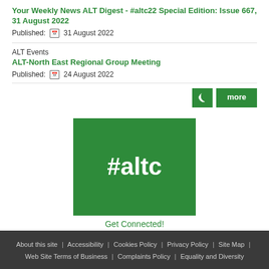Your Weekly News ALT Digest - #altc22 Special Edition: Issue 667, 31 August 2022
Published: 31 August 2022
ALT Events
ALT-North East Regional Group Meeting
Published: 24 August 2022
[Figure (logo): Green square with white bold text '#altc' — Get Connected!]
Get Connected!
About this site | Accessibility | Cookies Policy | Privacy Policy | Site Map | Web Site Terms of Business | Complaints Policy | Equality and Diversity